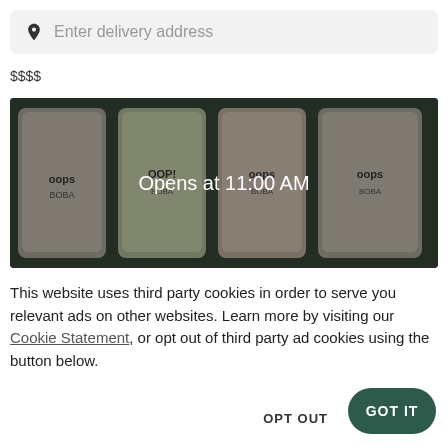Enter delivery address
$$$$
[Figure (photo): Photo of four bubble tea / boba drinks in cups with logos, overlaid with text 'Opens at 11:00 AM']
This website uses third party cookies in order to serve you relevant ads on other websites. Learn more by visiting our Cookie Statement, or opt out of third party ad cookies using the button below.
OPT OUT
GOT IT